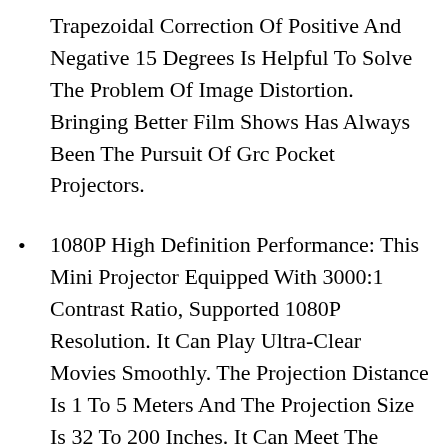Trapezoidal Correction Of Positive And Negative 15 Degrees Is Helpful To Solve The Problem Of Image Distortion. Bringing Better Film Shows Has Always Been The Pursuit Of Grc Pocket Projectors.
1080P High Definition Performance: This Mini Projector Equipped With 3000:1 Contrast Ratio, Supported 1080P Resolution. It Can Play Ultra-Clear Movies Smoothly. The Projection Distance Is 1 To 5 Meters And The Projection Size Is 32 To 200 Inches. It Can Meet The Projection Needs Of Different Occasions.